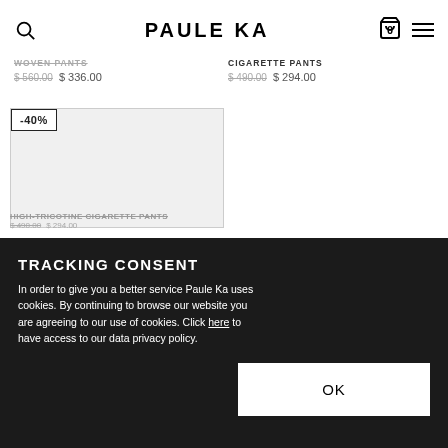PAULE KA
WOVEN PANTS
$560.00  $336.00
CIGARETTE PANTS
$490.00  $294.00
[Figure (screenshot): Product image placeholder with -40% badge, light gray background]
TRACKING CONSENT
In order to give you a better service Paule Ka uses cookies. By continuing to browse our website you are agreeing to our use of cookies. Click here to have access to our data privacy policy.
OK